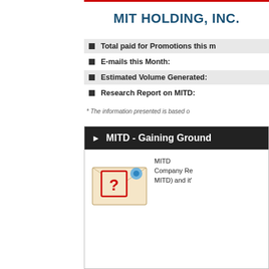MIT HOLDING, INC.
Total paid for Promotions this m
E-mails this Month:
Estimated Volume Generated:
Research Report on MITD:
* The information presented is based o
MITD - Gaining Ground
[Figure (illustration): Envelope with a red question mark stamp and a blue thumbtack]
MITD
Company Re
MITD) and it'
Promoter:   Stock Market Media Gr
Stocks covered:
▸ MITD
Max Profit: 14.81 %